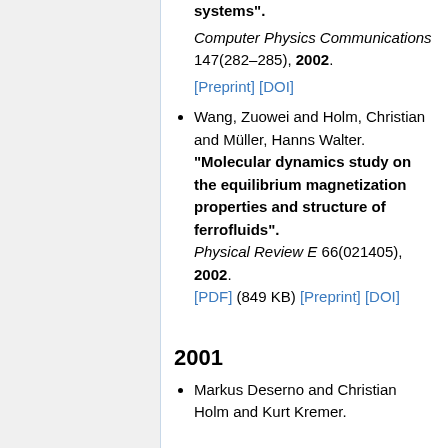systems". Computer Physics Communications 147(282–285), 2002. [Preprint] [DOI]
Wang, Zuowei and Holm, Christian and Müller, Hanns Walter. "Molecular dynamics study on the equilibrium magnetization properties and structure of ferrofluids". Physical Review E 66(021405), 2002. [PDF] (849 KB) [Preprint] [DOI]
2001
Markus Deserno and Christian Holm and Kurt Kremer.